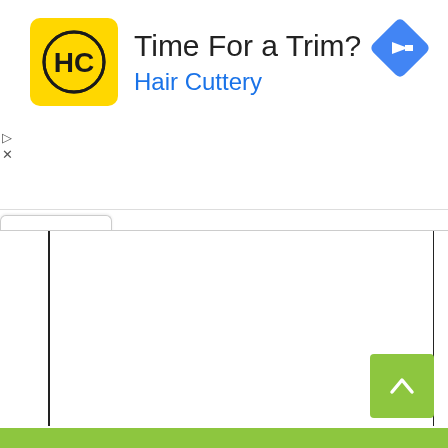[Figure (screenshot): Advertisement banner for Hair Cuttery. Contains a yellow square logo with 'HC' text, headline 'Time For a Trim?', brand name 'Hair Cuttery' in blue, a blue diamond-shaped navigation icon on the right, and small play/close control buttons on the left. Below the ad is a collapse tab with a caret-up symbol, two vertical black lines forming a page layout, a green scroll-to-top button with caret, and a green bar at the bottom.]